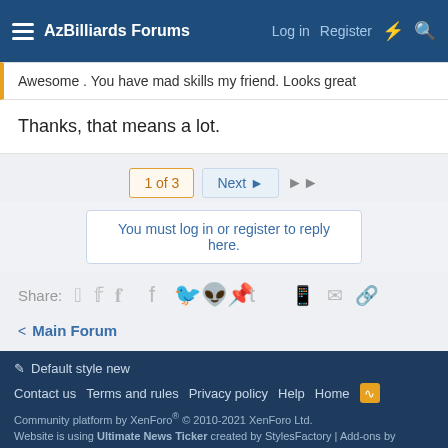AzBilliards Forums  Log in  Register
Awesome . You have mad skills my friend. Looks great
Thanks, that means a lot.
1 of 3  Next  ▶▶
You must log in or register to reply here.
Share:
< Main Forum
Default style new
Contact us  Terms and rules  Privacy policy  Help  Home
Community platform by XenForo® © 2010-2021 XenForo Ltd.
Website is using Ultimate News Ticker created by StylesFactory | Add-ons by ThemeHouse